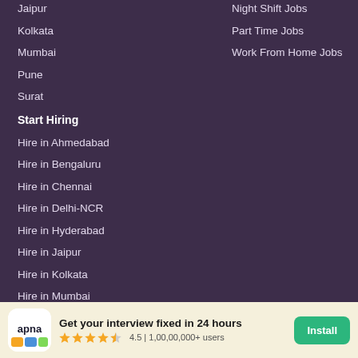Jaipur
Night Shift Jobs
Kolkata
Part Time Jobs
Mumbai
Work From Home Jobs
Pune
Surat
Start Hiring
Hire in Ahmedabad
Hire in Bengaluru
Hire in Chennai
Hire in Delhi-NCR
Hire in Hyderabad
Hire in Jaipur
Hire in Kolkata
Hire in Mumbai
Hire in Pune
Hire in Surat
Get your interview fixed in 24 hours
4.5 | 1,00,00,000+ users